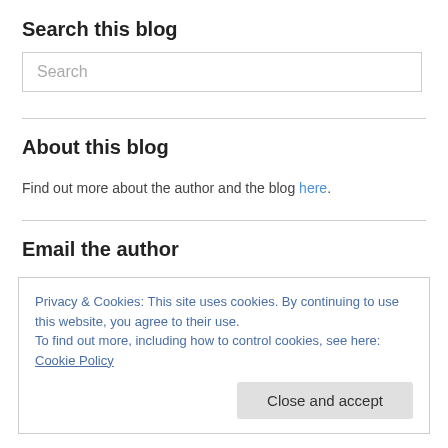Search this blog
Search
About this blog
Find out more about the author and the blog here.
Email the author
Evon-Prondzv nski@rau.ac.uk
Privacy & Cookies: This site uses cookies. By continuing to use this website, you agree to their use.
To find out more, including how to control cookies, see here: Cookie Policy
Close and accept